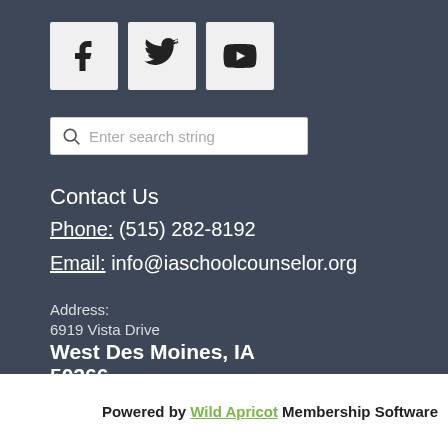[Figure (infographic): Three social media icons: Facebook (f), Twitter (bird), and YouTube (play button) in light grey boxes on dark background]
[Figure (screenshot): Search bar with magnifying glass icon and placeholder text 'Enter search string']
Contact Us
Phone: (515) 282-8192
Email: info@iaschoolcounselor.org
Address:
6919 Vista Drive
West Des Moines, IA
50266
Powered by Wild Apricot Membership Software